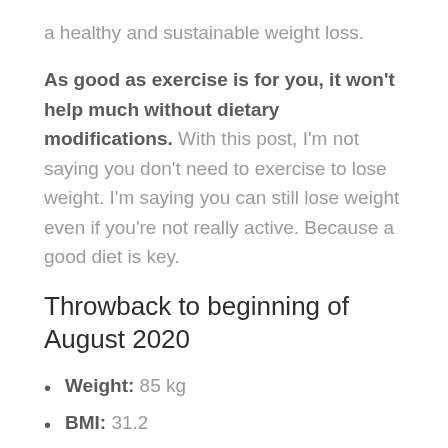a healthy and sustainable weight loss.
As good as exercise is for you, it won't help much without dietary modifications. With this post, I'm not saying you don't need to exercise to lose weight. I'm saying you can still lose weight even if you're not really active. Because a good diet is key.
Throwback to beginning of August 2020
Weight: 85 kg
BMI: 31.2